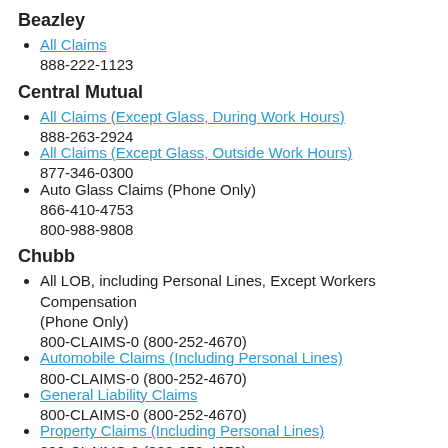Beazley
All Claims
888-222-1123
Central Mutual
All Claims (Except Glass, During Work Hours)
888-263-2924
All Claims (Except Glass, Outside Work Hours)
877-346-0300
Auto Glass Claims (Phone Only)
866-410-4753
800-988-9808
Chubb
All LOB, including Personal Lines, Except Workers Compensation
(Phone Only)
800-CLAIMS-0 (800-252-4670)
Automobile Claims (Including Personal Lines)
800-CLAIMS-0 (800-252-4670)
General Liability Claims
800-CLAIMS-0 (800-252-4670)
Property Claims (Including Personal Lines)
800-CLAIMS-0 (800-252-4670)
Workers Compensation Claims
800-699-9916
Ocean Cargo Claims